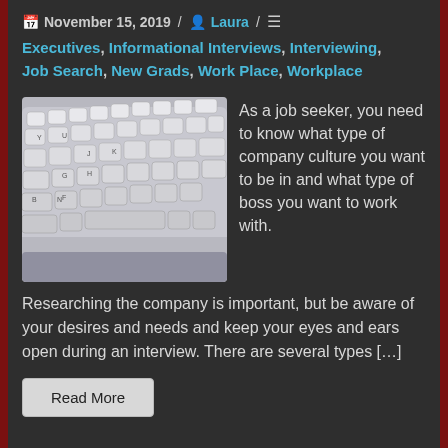November 15, 2019 / Laura / ≡
Executives, Informational Interviews, Interviewing, Job Search, New Grads, Work Place, Workplace
[Figure (photo): Close-up photograph of a white computer keyboard from an angled top-down perspective]
As a job seeker, you need to know what type of company culture you want to be in and what type of boss you want to work with.
Researching the company is important, but be aware of your desires and needs and keep your eyes and ears open during an interview. There are several types […]
Read More